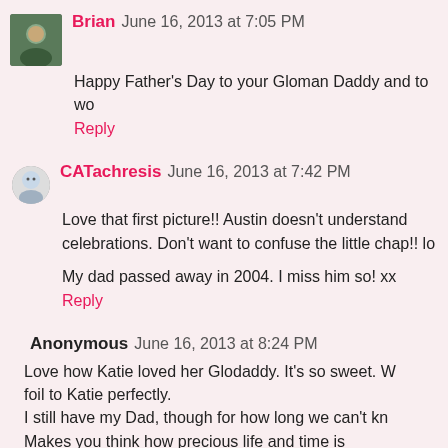Brian June 16, 2013 at 7:05 PM
Happy Father's Day to your Gloman Daddy and to wo
Reply
CATachresis June 16, 2013 at 7:42 PM
Love that first picture!! Austin doesn't understand celebrations. Don't want to confuse the little chap!! lo
My dad passed away in 2004. I miss him so! xx
Reply
Anonymous June 16, 2013 at 8:24 PM
Love how Katie loved her Glodaddy. It's so sweet. W foil to Katie perfectly.
I still have my Dad, though for how long we can't kn
Makes you think how precious life and time is
Reply